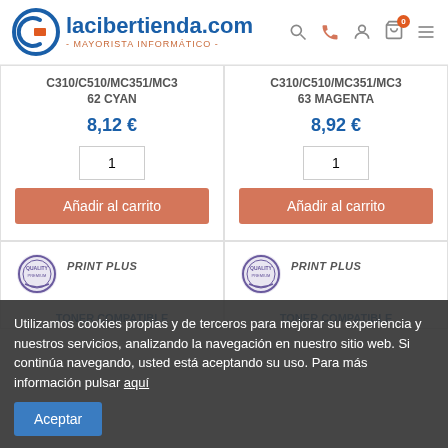lacibertienda.com - MAYORISTA INFORMÁTICO -
C310/C510/MC351/MC362 CYAN
8,12 €
Añadir al carrito
C310/C510/MC351/MC363 MAGENTA
8,92 €
Añadir al carrito
[Figure (logo): PRINT PLUS badge with quality seal icon]
TONER COMPATIBLE
[Figure (logo): PRINT PLUS badge with quality seal icon]
TONER COMPATIBLE
Utilizamos cookies propias y de terceros para mejorar su experiencia y nuestros servicios, analizando la navegación en nuestro sitio web. Si continúa navegando, usted está aceptando su uso. Para más información pulsar aquí
Aceptar